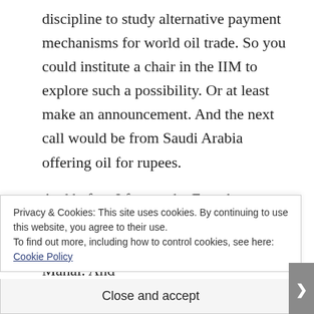discipline to study alternative payment mechanisms for world oil trade. So you could institute a chair in the IIM to explore such a possibility. Or at least make an announcement. And the next call would be from Saudi Arabia offering oil for rupees.
And before I forget, the French President would want to come to India to get photographed in front of the Taj Mahal. And
Privacy & Cookies: This site uses cookies. By continuing to use this website, you agree to their use.
To find out more, including how to control cookies, see here: Cookie Policy
Close and accept